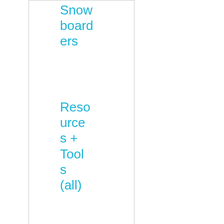Snowboarders
Resources + Tools (all)
Our Tools